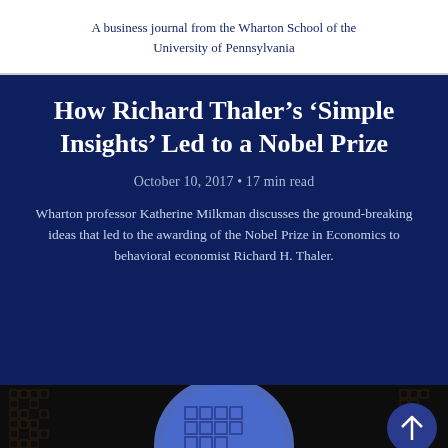A business journal from the Wharton School of the University of Pennsylvania
How Richard Thaler’s ‘Simple Insights’ Led to a Nobel Prize
October 10, 2017 • 17 min read
Wharton professor Katherine Milkman discusses the ground-breaking ideas that led to the awarding of the Nobel Prize in Economics to behavioral economist Richard H. Thaler.
[Figure (illustration): A decorative image showing a brain or maze-like pattern against a dark background, partially visible at the bottom of the page.]